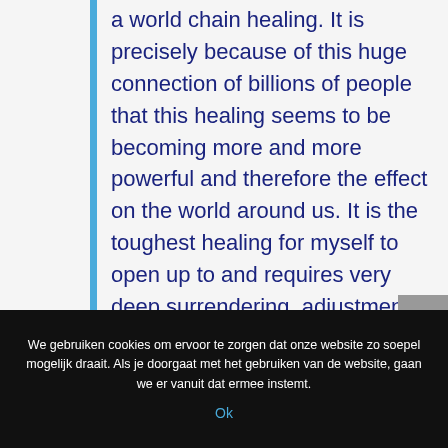a world chain healing. It is precisely because of this huge connection of billions of people that this healing seems to be becoming more and more powerful and therefore the effect on the world around us. It is the toughest healing for myself to open up to and requires very deep surrendering, adjustments of my day and 24 hours of my commitment, but it's worth it 100,000 times!
We gebruiken cookies om ervoor te zorgen dat onze website zo soepel mogelijk draait. Als je doorgaat met het gebruiken van de website, gaan we er vanuit dat ermee instemt.
Ok